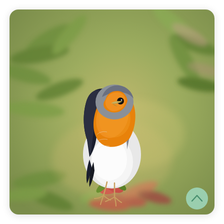[Figure (photo): A European Robin (Erithacus rubecula) perched on top of a plant bud or branch tip. The bird has a distinctive bright orange-red breast and face, grey-blue wings and back, and white belly. It is photographed against a soft-focus background of green and muted-coloured leaves, with a warm olive-tan bokeh. A small circular scroll-up button with a chevron icon is visible in the bottom-right corner of the image card.]